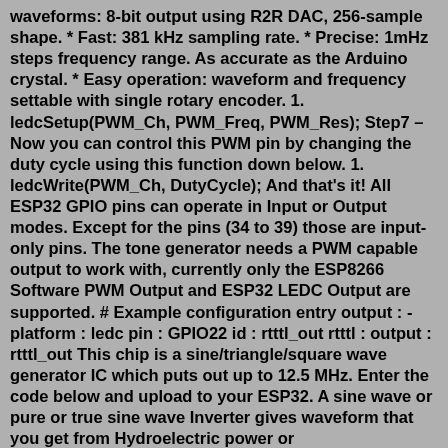waveforms: 8-bit output using R2R DAC, 256-sample shape. * Fast: 381 kHz sampling rate. * Precise: 1mHz steps frequency range. As accurate as the Arduino crystal. * Easy operation: waveform and frequency settable with single rotary encoder. 1. ledcSetup(PWM_Ch, PWM_Freq, PWM_Res); Step7 – Now you can control this PWM pin by changing the duty cycle using this function down below. 1. ledcWrite(PWM_Ch, DutyCycle); And that's it! All ESP32 GPIO pins can operate in Input or Output modes. Except for the pins (34 to 39) those are input-only pins. The tone generator needs a PWM capable output to work with, currently only the ESP8266 Software PWM Output and ESP32 LEDC Output are supported. # Example configuration entry output : - platform : ledc pin : GPIO22 id : rtttl_out rtttl : output : rtttl_out This chip is a sine/triangle/square wave generator IC which puts out up to 12.5 MHz. Enter the code below and upload to your ESP32. A sine wave or pure or true sine wave Inverter gives waveform that you get from Hydroelectric power or